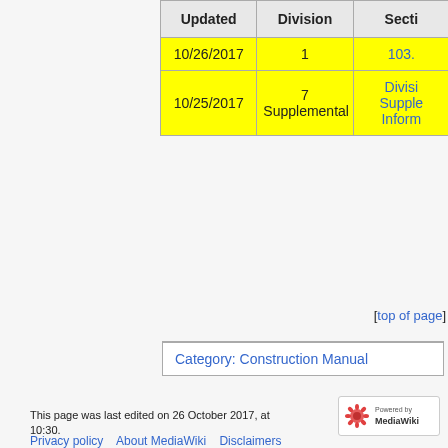| Updated | Division | Secti… |
| --- | --- | --- |
| 10/26/2017 | 1 | 103.… |
| 10/25/2017 | 7
Supplemental | Divisio…
Supplem…
Inform… |
[top of page]
Category:  Construction Manual
This page was last edited on 26 October 2017, at 10:30.
Privacy policy    About MediaWiki    Disclaimers